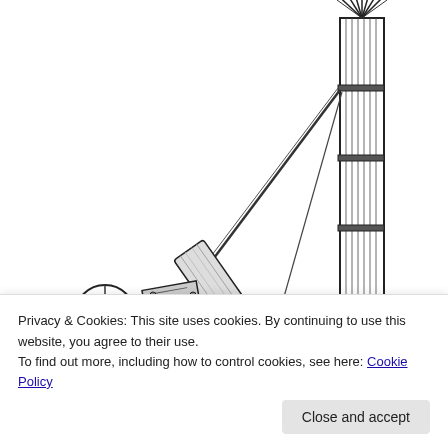[Figure (illustration): Black and white engraving/illustration of an early steam-powered locomotive or mining engine with a tall vertical boiler/chimney on the right, a diagonal connecting rod, mechanical components including a wheel mechanism on the lower left, and partial large wheels visible at the bottom. The illustration is cropped, showing the upper portion of the machine prominently.]
Privacy & Cookies: This site uses cookies. By continuing to use this website, you agree to their use.
To find out more, including how to control cookies, see here: Cookie Policy